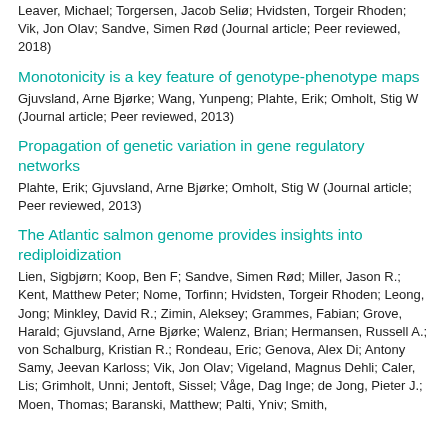Leaver, Michael; Torgersen, Jacob Seliø; Hvidsten, Torgeir Rhoden; Vik, Jon Olav; Sandve, Simen Rød (Journal article; Peer reviewed, 2018)
Monotonicity is a key feature of genotype-phenotype maps
Gjuvsland, Arne Bjørke; Wang, Yunpeng; Plahte, Erik; Omholt, Stig W (Journal article; Peer reviewed, 2013)
Propagation of genetic variation in gene regulatory networks
Plahte, Erik; Gjuvsland, Arne Bjørke; Omholt, Stig W (Journal article; Peer reviewed, 2013)
The Atlantic salmon genome provides insights into rediploidization
Lien, Sigbjørn; Koop, Ben F; Sandve, Simen Rød; Miller, Jason R.; Kent, Matthew Peter; Nome, Torfinn; Hvidsten, Torgeir Rhoden; Leong, Jong; Minkley, David R.; Zimin, Aleksey; Grammes, Fabian; Grove, Harald; Gjuvsland, Arne Bjørke; Walenz, Brian; Hermansen, Russell A.; von Schalburg, Kristian R.; Rondeau, Eric; Genova, Alex Di; Antony Samy, Jeevan Karloss; Vik, Jon Olav; Vigeland, Magnus Dehli; Caler, Lis; Grimholt, Unni; Jentoft, Sissel; Våge, Dag Inge; de Jong, Pieter J.; Moen, Thomas; Baranski, Matthew; Palti, Yniv; Smith,